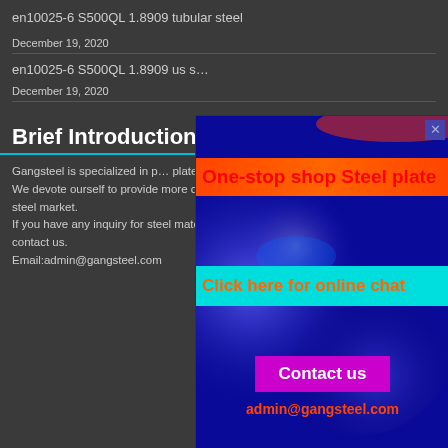en10025-6 S500QL 1.8909 tubular steel
December 19, 2020
en10025-6 S500QL 1.8909 us s…
December 19, 2020
Brief Introduction
Gangsteel is specialized in p… plates, stainless steel plates… profile Material.
We devote ourself to provide more cheaper price and more better service at China steel market.
If you have any inquiry for steel material in China market, please feel free to contact us.
Email:admin@gangsteel.com
[Figure (screenshot): Popup advertisement overlay with blue glowing background, red banner saying 'One-stop shop Steel plate', cyan banner saying 'Click here for online chat', magenta Contact us button, and email admin@gangsteel.com in red/orange text. Has a close X button in top right.]